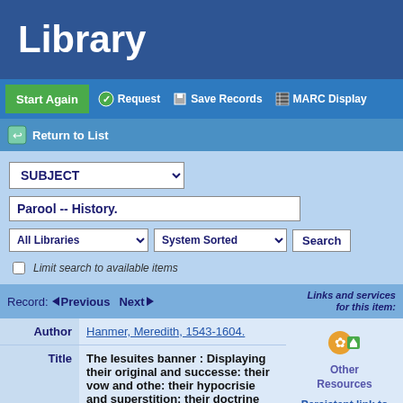Library
Start Again | Request | Save Records | MARC Display
Return to List
SUBJECT | Parool -- History. | All Libraries | System Sorted | Search | Limit search to available items
Record: Previous Next | Links and services for this item:
| Field | Value |
| --- | --- |
| Author | Hanmer, Meredith, 1543-1604. |
| Title | The Iesuites banner : Displaying their original and successe: their vow and othe: their hypocrisie and superstition: their doctrine and positions: with a confutation of a late pamphlet secretly |
Other Resources
Persistent link to